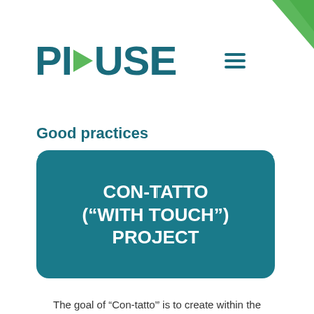[Figure (logo): Green triangle corner decoration in top-right corner]
[Figure (logo): PI-USE logo with green play button arrow between PI and USE, in teal/dark cyan color]
Good practices
CON-TATTO ("WITH TOUCH") PROJECT
The goal of "Con-tatto" is to create within the